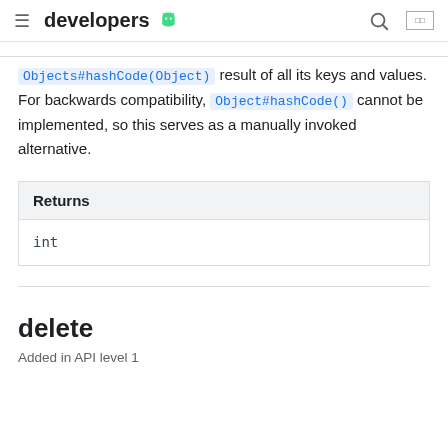developers [Android logo]
Objects#hashCode(Object) result of all its keys and values. For backwards compatibility, Object#hashCode() cannot be implemented, so this serves as a manually invoked alternative.
| Returns |
| --- |
| int |
delete
Added in API level 1